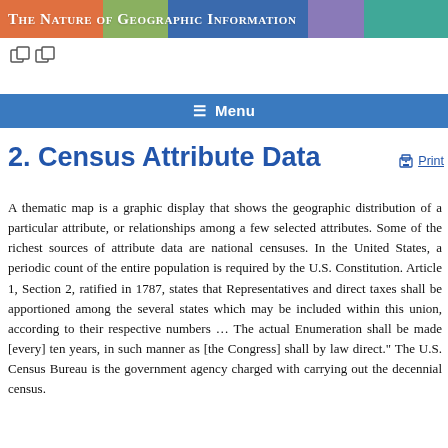The Nature of Geographic Information
[Figure (other): Two small external link icons]
≡ Menu
2. Census Attribute Data
A thematic map is a graphic display that shows the geographic distribution of a particular attribute, or relationships among a few selected attributes. Some of the richest sources of attribute data are national censuses. In the United States, a periodic count of the entire population is required by the U.S. Constitution. Article 1, Section 2, ratified in 1787, states that Representatives and direct taxes shall be apportioned among the several states which may be included within this union, according to their respective numbers … The actual Enumeration shall be made [every] ten years, in such manner as [the Congress] shall by law direct." The U.S. Census Bureau is the government agency charged with carrying out the decennial census.